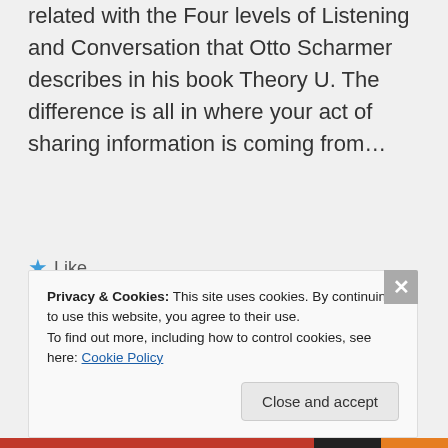related with the Four levels of Listening and Conversation that Otto Scharmer describes in his book Theory U. The difference is all in where your act of sharing information is coming from…
★ Like
👍 0 👎 0 ℹ Rate This
Privacy & Cookies: This site uses cookies. By continuing to use this website, you agree to their use.
To find out more, including how to control cookies, see here: Cookie Policy
Close and accept